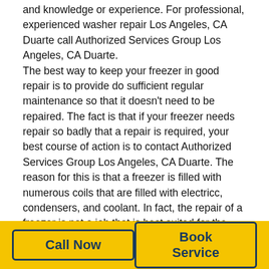and knowledge or experience. For professional, experienced washer repair Los Angeles, CA Duarte call Authorized Services Group Los Angeles, CA Duarte.
The best way to keep your freezer in good repair is to provide do sufficient regular maintenance so that it doesn't need to be repaired. The fact is that if your freezer needs repair so badly that a repair is required, your best course of action is to contact Authorized Services Group Los Angeles, CA Duarte. The reason for this is that a freezer is filled with numerous coils that are filled with electricc, condensers, and coolant. In fact, the repair of a freezer is not a job that is best suited for the typical homeowner, and in many cases it can be less expensive to replace the freezer rather than having it repaired.
Call Now | Book Service